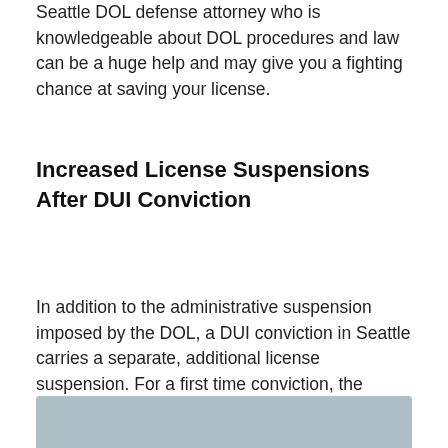Seattle DOL defense attorney who is knowledgeable about DOL procedures and law can be a huge help and may give you a fighting chance at saving your license.
Increased License Suspensions After DUI Conviction
In addition to the administrative suspension imposed by the DOL, a DUI conviction in Seattle carries a separate, additional license suspension. For a first time conviction, the minimum additional license suspension is 90 days if the BAC reading is under .15. If the BAC is over .15, the license is revoked for a minimum of one year. If the breath test was refused on the first offense, there is a minimum two-year suspension. Subsequent convictions produce dramatically longer suspensions.
[Figure (photo): Partial image at bottom of page, blue-grey background, top portion visible]